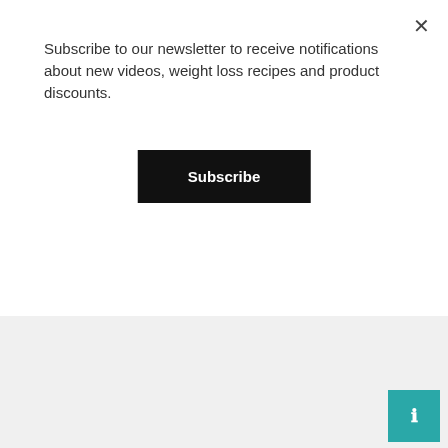Subscribe to our newsletter to receive notifications about new videos, weight loss recipes and product discounts.
Subscribe
and manage diabetes.
Increases satiety.
Aid weight loss.
Improves heart health.
Boost skin health.
Remedy for skin conditions like dry skin and eczema.
Prevents and decreases the